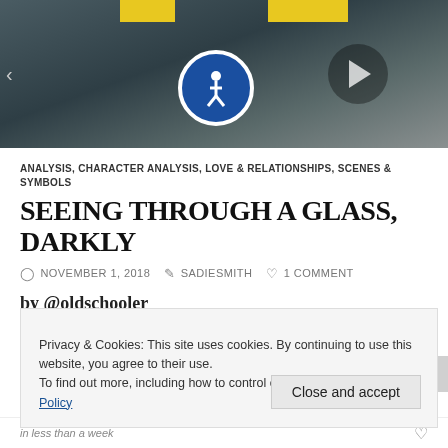[Figure (photo): Photo of glass doors/elevator with blue circular accessibility sign, yellow warning stickers, and a play button overlay on dark background]
ANALYSIS, CHARACTER ANALYSIS, LOVE & RELATIONSHIPS, SCENES & SYMBOLS
SEEING THROUGH A GLASS, DARKLY
NOVEMBER 1, 2018   SADIESMITH   1 COMMENT
by @oldschooler
Privacy & Cookies: This site uses cookies. By continuing to use this website, you agree to their use.
To find out more, including how to control cookies, see here: Cookie Policy
Close and accept
in less than a week